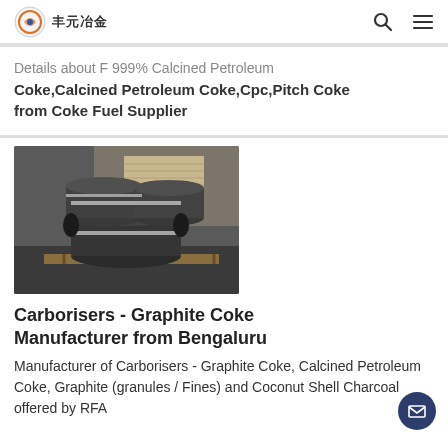丰元冶金
Details about F 999% Calcined Petroleum Coke,Calcined Petroleum Coke,Cpc,Pitch Coke from Coke Fuel Supplier
[Figure (photo): Photo of graphite electrode cylinders bundled with metal strapping, stacked on a wooden pallet in an industrial warehouse setting.]
Carborisers - Graphite Coke Manufacturer from Bengaluru
Manufacturer of Carborisers - Graphite Coke, Calcined Petroleum Coke, Graphite (granules / Fines) and Coconut Shell Charcoal offered by RFA...